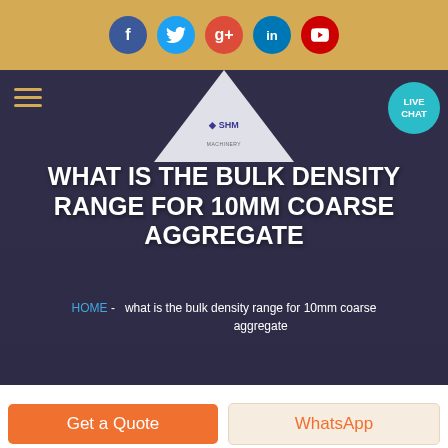Social icons: Facebook, Twitter, Google+, LinkedIn, YouTube
[Figure (screenshot): SHM website header with logo, hamburger menu, live chat button on dark hero background]
WHAT IS THE BULK DENSITY RANGE FOR 10MM COARSE AGGREGATE
HOME - what is the bulk density range for 10mm coarse aggregate
Get a Quote | WhatsApp